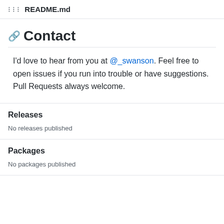README.md
Contact
I'd love to hear from you at @_swanson. Feel free to open issues if you run into trouble or have suggestions. Pull Requests always welcome.
Releases
No releases published
Packages
No packages published